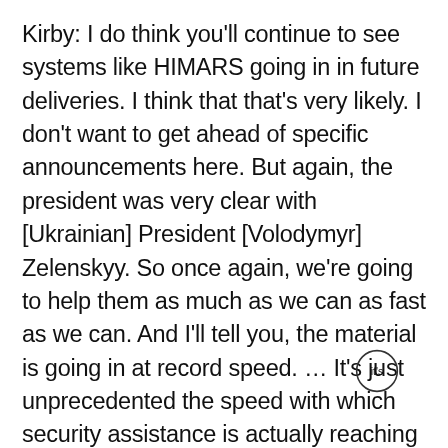Kirby: I do think you'll continue to see systems like HIMARS going in in future deliveries. I think that that's very likely. I don't want to get ahead of specific announcements here. But again, the president was very clear with [Ukrainian] President [Volodymyr] Zelenskyy. So once again, we're going to help them as much as we can as fast as we can. And I'll tell you, the material is going in at record speed. … It's just unprecedented the speed with which security assistance is actually reaching the front lines in Ukraine. There's literally shipments going in every single day. And it's not just from the United States, we are the